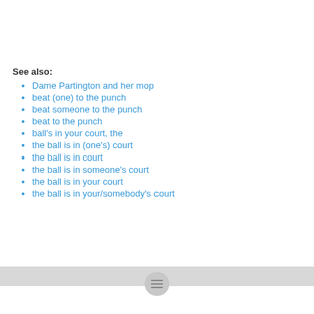See also:
Dame Partington and her mop
beat (one) to the punch
beat someone to the punch
beat to the punch
ball's in your court, the
the ball is in (one's) court
the ball is in court
the ball is in someone's court
the ball is in your court
the ball is in your/somebody's court